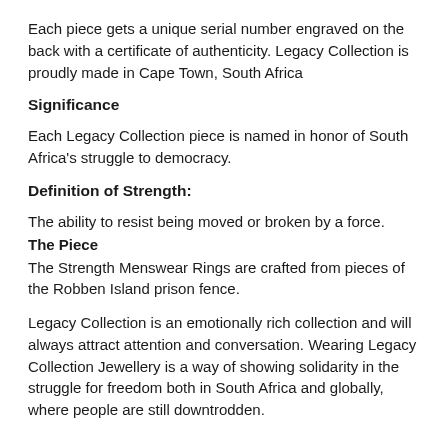Each piece gets a unique serial number engraved on the back with a certificate of authenticity. Legacy Collection is proudly made in Cape Town, South Africa
Significance
Each Legacy Collection piece is named in honor of South Africa's struggle to democracy.
Definition of Strength:
The ability to resist being moved or broken by a force.
The Piece
The Strength Menswear Rings are crafted from pieces of the Robben Island prison fence.
Legacy Collection is an emotionally rich collection and will always attract attention and conversation. Wearing Legacy Collection Jewellery is a way of showing solidarity in the struggle for freedom both in South Africa and globally, where people are still downtrodden.